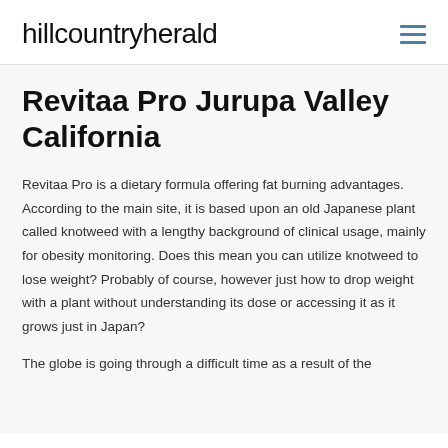hillcountryherald
Revitaa Pro Jurupa Valley California
Revitaa Pro is a dietary formula offering fat burning advantages. According to the main site, it is based upon an old Japanese plant called knotweed with a lengthy background of clinical usage, mainly for obesity monitoring. Does this mean you can utilize knotweed to lose weight? Probably of course, however just how to drop weight with a plant without understanding its dose or accessing it as it grows just in Japan?
The globe is going through a difficult time as a result of the